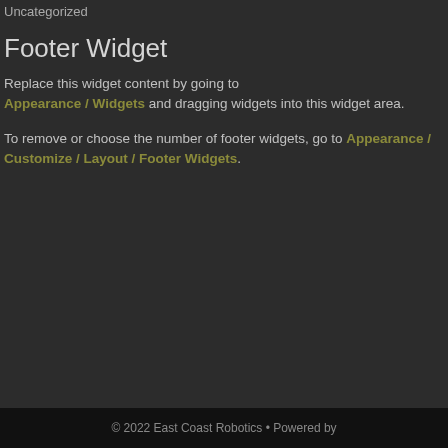Uncategorized
Footer Widget
Replace this widget content by going to Appearance / Widgets and dragging widgets into this widget area.
To remove or choose the number of footer widgets, go to Appearance / Customize / Layout / Footer Widgets.
© 2022 East Coast Robotics • Powered by